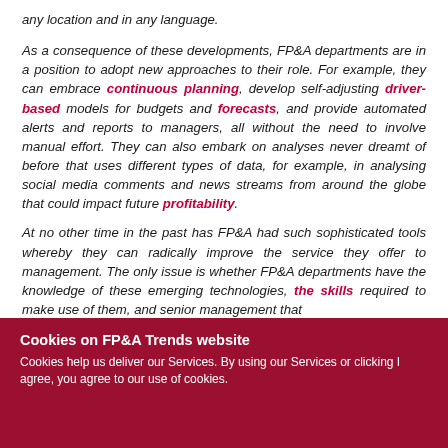any location and in any language.
As a consequence of these developments, FP&A departments are in a position to adopt new approaches to their role. For example, they can embrace continuous planning, develop self-adjusting driver-based models for budgets and forecasts, and provide automated alerts and reports to managers, all without the need to involve manual effort. They can also embark on analyses never dreamt of before that uses different types of data, for example, in analysing social media comments and news streams from around the globe that could impact future profitability.
At no other time in the past has FP&A had such sophisticated tools whereby they can radically improve the service they offer to management. The only issue is whether FP&A departments have the knowledge of these emerging technologies, the skills required to make use of them, and senior management that
Cookies on FP&A Trends website
Cookies help us deliver our Services. By using our Services or clicking I agree, you agree to our use of cookies.